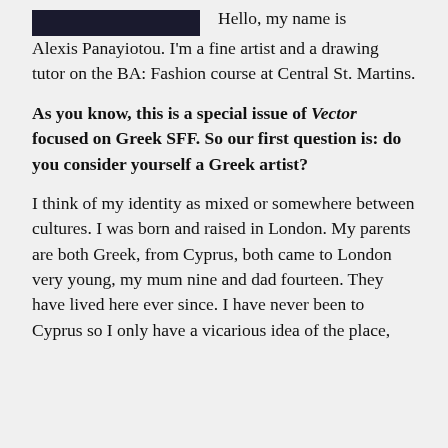[Figure (other): Dark colored rectangular image block in top left]
Hello, my name is Alexis Panayiotou. I'm a fine artist and a drawing tutor on the BA: Fashion course at Central St. Martins.
As you know, this is a special issue of Vector focused on Greek SFF. So our first question is: do you consider yourself a Greek artist?
I think of my identity as mixed or somewhere between cultures. I was born and raised in London. My parents are both Greek, from Cyprus, both came to London very young, my mum nine and dad fourteen. They have lived here ever since. I have never been to Cyprus so I only have a vicarious idea of the place,